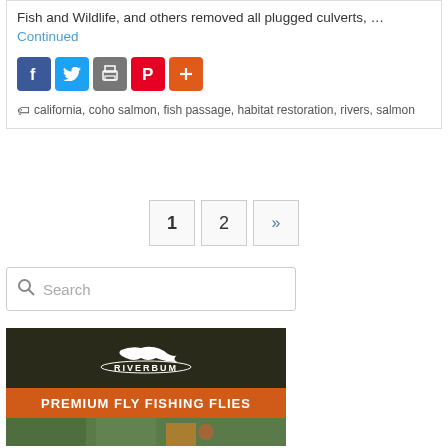Fish and Wildlife, and others removed all plugged culverts, … Continued
[Figure (other): Social share buttons: Facebook (blue), Twitter (light blue), Print (grey), Pinterest (red), Plus/share (orange)]
california, coho salmon, fish passage, habitat restoration, rivers, salmon
1
2
»
Search
[Figure (logo): RiverBum advertisement banner: dark background with white fish logo and RIVERBUM text, orange bar with PREMIUM FLY FISHING FLIES text, photo of fly fishers below]